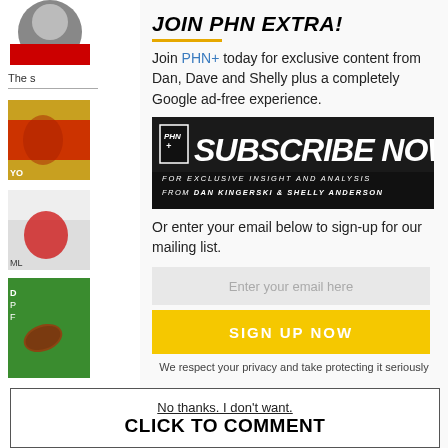[Figure (photo): Partial avatar/logo icon in top left]
The s
[Figure (photo): Hockey player in red jersey thumbnail]
[Figure (photo): Hockey player in white/red jersey thumbnail]
[Figure (photo): Football on grass thumbnail]
JOIN PHN EXTRA!
Join PHN+ today for exclusive content from Dan, Dave and Shelly plus a completely Google ad-free experience.
[Figure (photo): PHN+ Subscribe Now banner - black background with bold italic text: SUBSCRIBE NOW FOR EXCLUSIVE INSIGHT AND ANALYSIS FROM DAN KINGERSKI & SHELLY ANDERSON]
Or enter your email below to sign-up for our mailing list.
Enter your email here
SIGN UP NOW
We respect your privacy and take protecting it seriously
No thanks. I don't want.
CLICK TO COMMENT